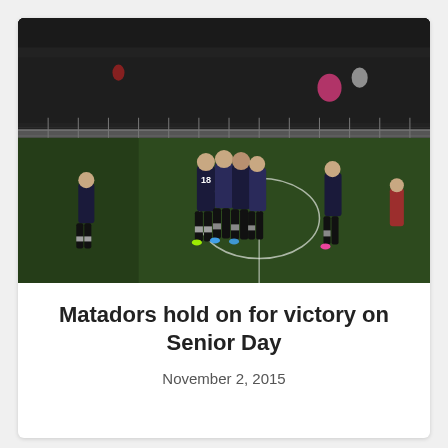[Figure (photo): Night soccer match photo showing female players in dark navy uniforms celebrating on a green grass field, with a large crowd of spectators in bleachers in the background. Player number 18 is visible among the celebrating group.]
Matadors hold on for victory on Senior Day
November 2, 2015